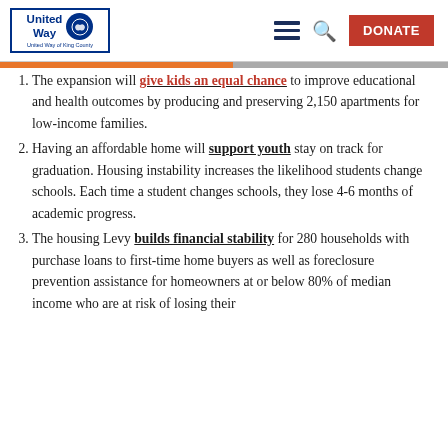United Way of King County — navigation header with logo, hamburger menu, search icon, and DONATE button
1. The expansion will give kids an equal chance to improve educational and health outcomes by producing and preserving 2,150 apartments for low-income families.
2. Having an affordable home will support youth stay on track for graduation. Housing instability increases the likelihood students change schools. Each time a student changes schools, they lose 4-6 months of academic progress.
3. The housing Levy builds financial stability for 280 households with purchase loans to first-time home buyers as well as foreclosure prevention assistance for homeowners at or below 80% of median income who are at risk of losing their